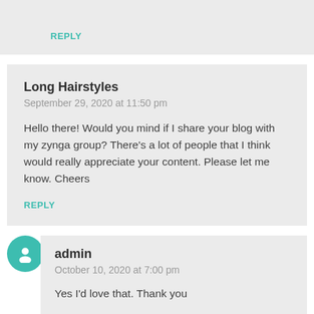REPLY
Long Hairstyles
September 29, 2020 at 11:50 pm
Hello there! Would you mind if I share your blog with my zynga group? There's a lot of people that I think would really appreciate your content. Please let me know. Cheers
REPLY
admin
October 10, 2020 at 7:00 pm
Yes I'd love that. Thank you
REPLY